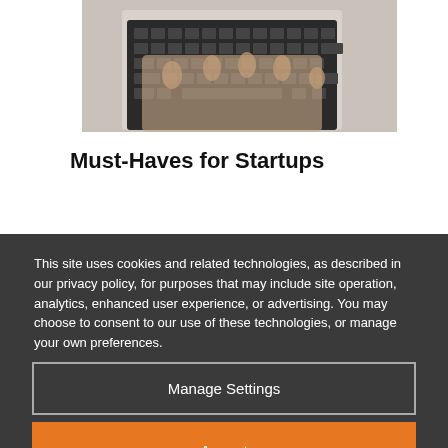[Figure (photo): Hands typing on a laptop keyboard, partial view from above]
Must-Haves for Startups
This site uses cookies and related technologies, as described in our privacy policy, for purposes that may include site operation, analytics, enhanced user experience, or advertising. You may choose to consent to our use of these technologies, or manage your own preferences.
Manage Settings
Accept
Decline All
Privacy Policy